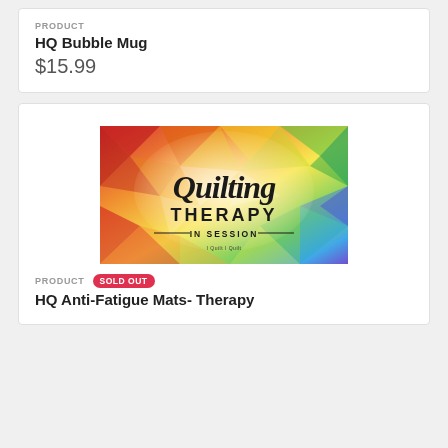PRODUCT
HQ Bubble Mug
$15.99
[Figure (photo): Colorful geometric low-poly background with script text reading 'Quilting THERAPY — IN SESSION —']
PRODUCT  SOLD OUT
HQ Anti-Fatigue Mats- Therapy